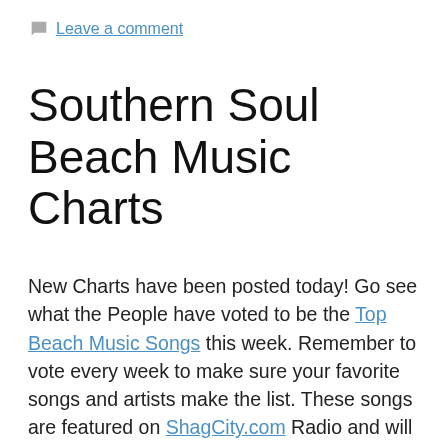Leave a comment
Southern Soul Beach Music Charts
New Charts have been posted today! Go see what the People have voted to be the Top Beach Music Songs this week. Remember to vote every week to make sure your favorite songs and artists make the list. These songs are featured on ShagCity.com Radio and will soon be played in a countdown format. Stay tuned for more information and details.